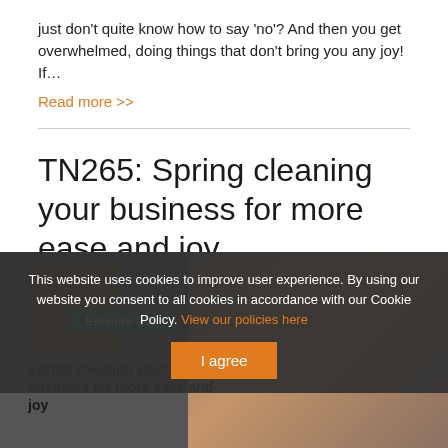just don't quite know how to say 'no'? And then you get overwhelmed, doing things that don't bring you any joy! If…
Read more >>
TN265: Spring cleaning your business for more ease and joy
05/30/2022
[Figure (screenshot): Screenshot of a podcast episode thumbnail with a green episode badge reading 'Episode 265', a bold title 'Spring cleaning your business for more ease and joy', and a photo of a smiling woman in background]
This website uses cookies to improve user experience. By using our website you consent to all cookies in accordance with our Cookie Policy. View our policies here
I agree